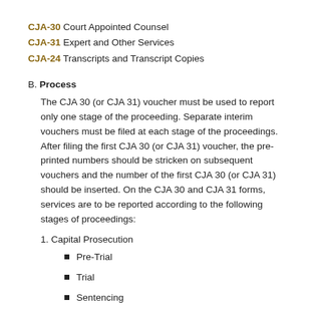CJA-30 Court Appointed Counsel
CJA-31 Expert and Other Services
CJA-24 Transcripts and Transcript Copies
B. Process
The CJA 30 (or CJA 31) voucher must be used to report only one stage of the proceeding. Separate interim vouchers must be filed at each stage of the proceedings. After filing the first CJA 30 (or CJA 31) voucher, the pre-printed numbers should be stricken on subsequent vouchers and the number of the first CJA 30 (or CJA 31) should be inserted. On the CJA 30 and CJA 31 forms, services are to be reported according to the following stages of proceedings:
1. Capital Prosecution
Pre-Trial
Trial
Sentencing
Other Post Trial